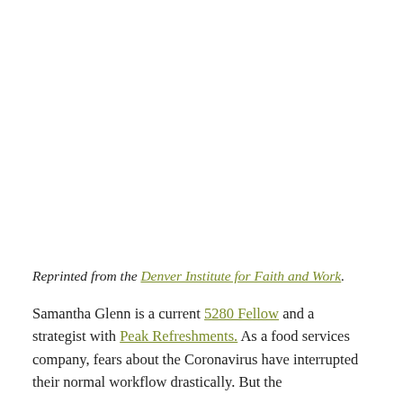Reprinted from the Denver Institute for Faith and Work.
Samantha Glenn is a current 5280 Fellow and a strategist with Peak Refreshments. As a food services company, fears about the Coronavirus have interrupted their normal workflow drastically. But the